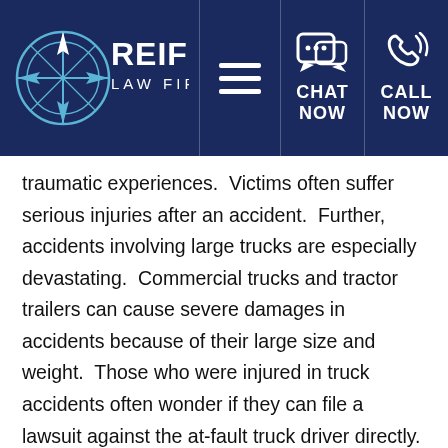[Figure (logo): Reiff Law Firm logo with compass rose graphic and white text on dark navy background, alongside hamburger menu icon, chat icon with CHAT NOW label, and phone icon with CALL NOW label]
traumatic experiences.  Victims often suffer serious injuries after an accident.  Further, accidents involving large trucks are especially devastating.  Commercial trucks and tractor trailers can cause severe damages in accidents because of their large size and weight.  Those who were injured in truck accidents often wonder if they can file a lawsuit against the at-fault truck driver directly.
In Pennsylvania, victims can file suit against an at